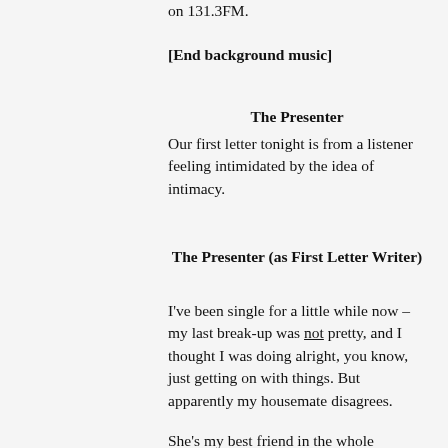on 131.3FM.
[End background music]
The Presenter
Our first letter tonight is from a listener feeling intimidated by the idea of intimacy.
The Presenter (as First Letter Writer)
I've been single for a little while now – my last break-up was not pretty, and I thought I was doing alright, you know, just getting on with things. But apparently my housemate disagrees.
She's my best friend in the whole...